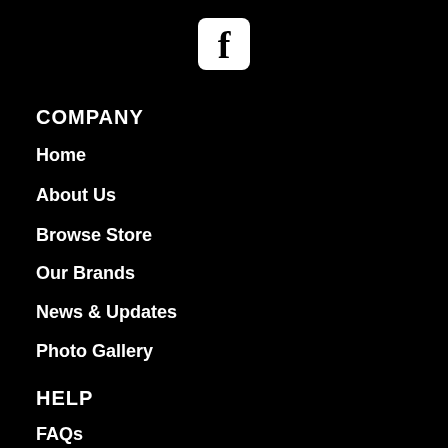[Figure (logo): Facebook icon — white letter f on white rounded rectangle background]
COMPANY
Home
About Us
Browse Store
Our Brands
News & Updates
Photo Gallery
HELP
FAQs
My Account
My Orders